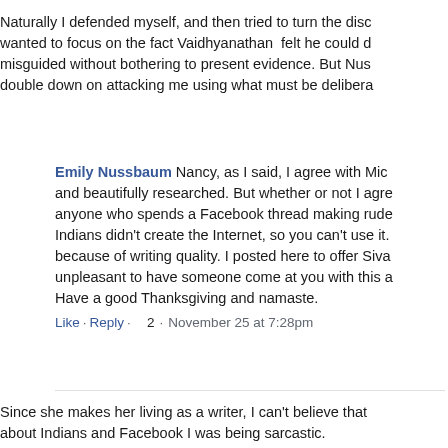Naturally I defended myself, and then tried to turn the disc wanted to focus on the fact Vaidhyanathan felt he could d misguided without bothering to present evidence. But Nus double down on attacking me using what must be delibera
Emily Nussbaum Nancy, as I said, I agree with Mic and beautifully researched. But whether or not I agre anyone who spends a Facebook thread making rude Indians didn't create the Internet, so you can't use it. because of writing quality. I posted here to offer Siva unpleasant to have someone come at you with this a Have a good Thanksgiving and namaste.
Like · Reply · 2 · November 25 at 7:28pm
Since she makes her living as a writer, I can't believe that about Indians and Facebook I was being sarcastic.
And clearly Emily Nussbaum doesn't care about the issue about is scolding women who argue too abrasively for her